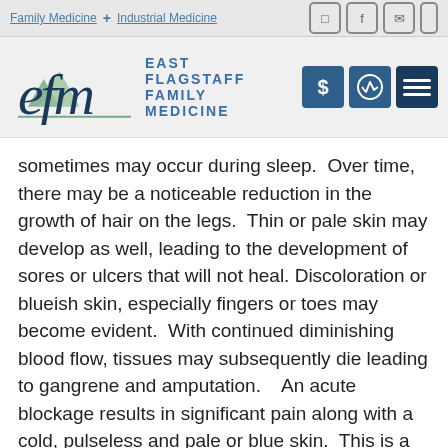Family Medicine + Industrial Medicine
[Figure (logo): East Flagstaff Family Medicine logo with stylized 'efm' text and mountain graphic, alongside blue header buttons for billing, health, and menu]
sometimes may occur during sleep.  Over time, there may be a noticeable reduction in the growth of hair on the legs.  Thin or pale skin may develop as well, leading to the development of sores or ulcers that will not heal.  Discoloration or blueish skin, especially fingers or toes may become evident.  With continued diminishing blood flow, tissues may subsequently die leading to gangrene and amputation.   An acute blockage results in significant pain along with a cold, pulseless and pale or blue skin.  This is a medical emergency and needs immediate attention.
There are multiple reasons why people have PAD. People